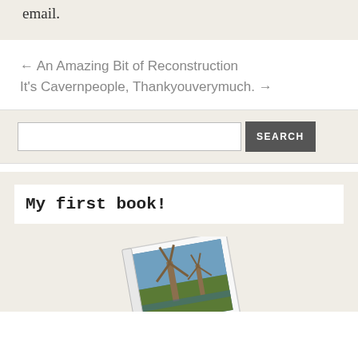email.
← An Amazing Bit of Reconstruction
It's Cavernpeople, Thankyouverymuch. →
[Figure (other): Search bar with text input field and SEARCH button]
My first book!
[Figure (photo): A book cover showing a painting of windmills, displayed at an angle]